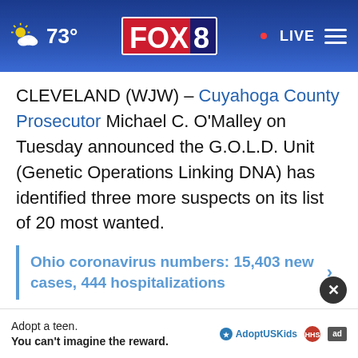73° FOX 8 LIVE
CLEVELAND (WJW) – Cuyahoga County Prosecutor Michael C. O'Malley on Tuesday announced the G.O.L.D. Unit (Genetic Operations Linking DNA) has identified three more suspects on its list of 20 most wanted.
Ohio coronavirus numbers: 15,403 new cases, 444 hospitalizations
Leo Bradley Scott III, 60, was wanted for two sexual assaults in 1994 and 1998. He was charged with three count
Adopt a teen. You can't imagine the reward. AdoptUSKids ad